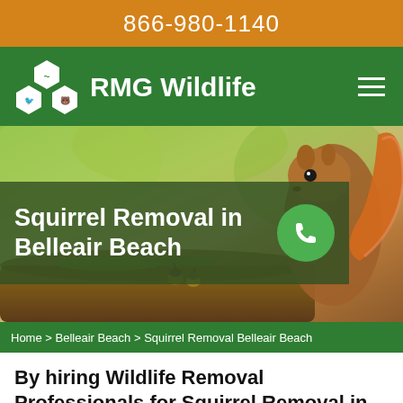866-980-1140
[Figure (logo): RMG Wildlife logo with hexagonal icons showing wildlife silhouettes on green navigation bar with hamburger menu]
[Figure (photo): Hero banner with squirrel on log with acorns against blurred green background, overlaid with semi-transparent green box containing title 'Squirrel Removal in Belleair Beach' and green phone call button]
Home > Belleair Beach > Squirrel Removal Belleair Beach
By hiring Wildlife Removal Professionals for Squirrel Removal in Belleair Beach, you can be sure...